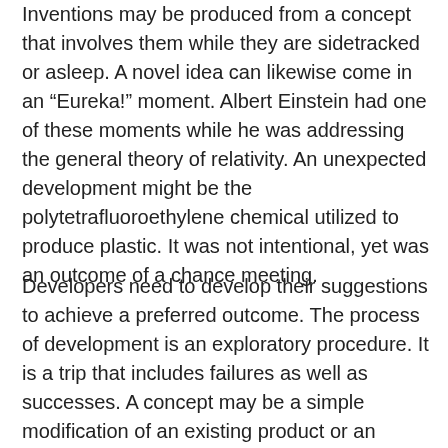Inventions may be produced from a concept that involves them while they are sidetracked or asleep. A novel idea can likewise come in an “Eureka!” moment. Albert Einstein had one of these moments while he was addressing the general theory of relativity. An unexpected development might be the polytetrafluoroethylene chemical utilized to produce plastic. It was not intentional, yet was an outcome of a chance meeting.
Developers need to develop their suggestions to achieve a preferred outcome. The process of development is an exploratory procedure. It is a trip that includes failures as well as successes. A concept may be a simple modification of an existing product or an intricate brand-new item. Some technologies may have been unintended by the inventors. An unexpected